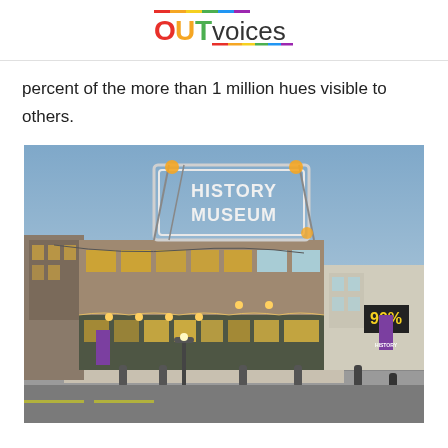OUTvoices
percent of the more than 1 million hues visible to others.
[Figure (photo): Exterior photograph of a History Museum building at dusk. The brick building has a large illuminated neon sign on the roof reading 'HISTORY MUSEUM'. The building's facade is decorated with warm globe lights. Adjacent buildings and a street lamp are visible.]